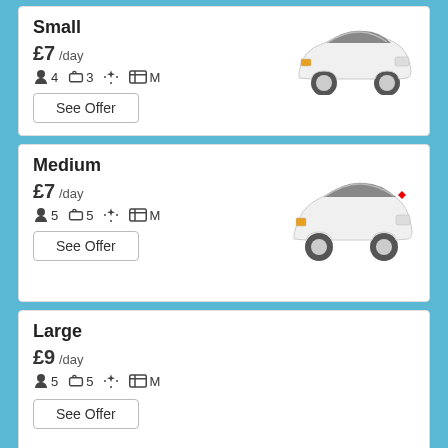Small
£7 /day
4 passengers  3 bags  AC  M transmission
See Offer
[Figure (photo): White small hatchback car (Citroën DS3 style), front-side view, white background]
Medium
£7 /day
5 passengers  5 bags  AC  M transmission
See Offer
[Figure (photo): White medium hatchback car (Renault Clio style), front-side view, white background]
Large
£9 /day
5 passengers  5 bags  AC  M transmission
See Offer
Estate